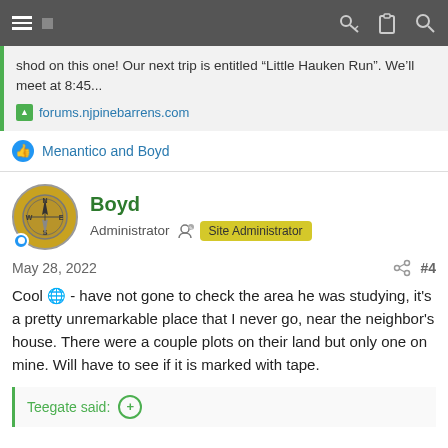Navigation bar with menu and icons
shod on this one! Our next trip is entitled “Little Hauken Run”. We’ll meet at 8:45...
forums.njpinebarrens.com
Menantico and Boyd
Boyd
Administrator  Site Administrator
May 28, 2022  #4
Cool 😎 - have not gone to check the area he was studying, it's a pretty unremarkable place that I never go, near the neighbor's house. There were a couple plots on their land but only one on mine. Will have to see if it is marked with tape.
Teegate said: